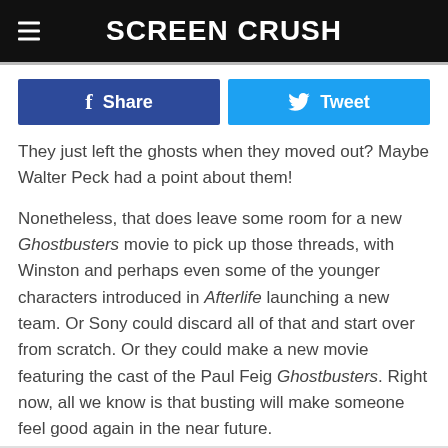Screen Crush
Share   Tweet
They just left the ghosts when they moved out? Maybe Walter Peck had a point about them!
Nonetheless, that does leave some room for a new Ghostbusters movie to pick up those threads, with Winston and perhaps even some of the younger characters introduced in Afterlife launching a new team. Or Sony could discard all of that and start over from scratch. Or they could make a new movie featuring the cast of the Paul Feig Ghostbusters. Right now, all we know is that busting will make someone feel good again in the near future.